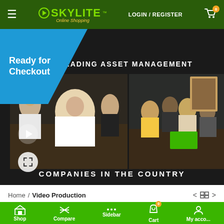SKYLITE Online Shopping — LOGIN / REGISTER — Cart 0
[Figure (screenshot): Video player showing a corporate asset management video. Blue 'Ready for Checkout' overlay on the left. Text overlay reads 'F THE LEADING ASSET MANAGEMENT' at the top and 'COMPANIES IN THE COUNTRY' at the bottom. Two business meeting photos side by side. Play and expand buttons at bottom-left.]
Home / Video Production
Shop | Compare | Sidebar | Cart 0 | My acco...